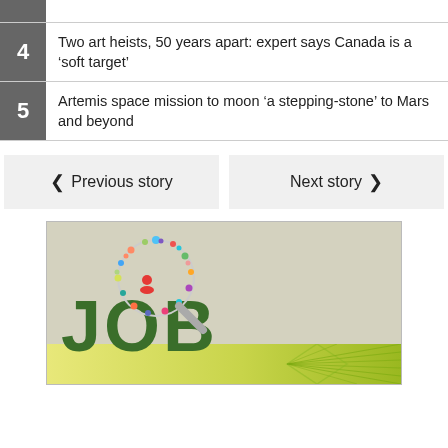4 Two art heists, 50 years apart: expert says Canada is a ‘soft target’
5 Artemis space mission to moon ‘a stepping-stone’ to Mars and beyond
Previous story
Next story
[Figure (illustration): Advertisement image showing the word JOB in large dark green letters with a magnifying glass graphic made of colorful social/job icons, on a beige background. Below is a yellow-green gradient banner.]